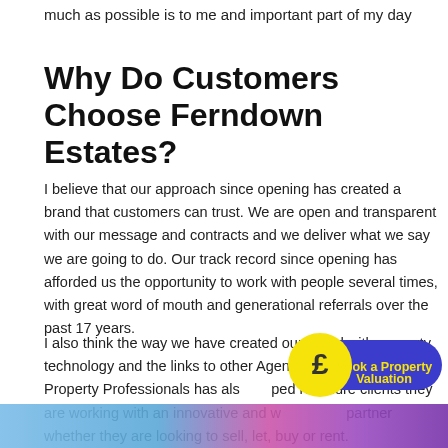much as possible is to me and important part of my day
Why Do Customers Choose Ferndown Estates?
I believe that our approach since opening has created a brand that customers can trust. We are open and transparent with our message and contracts and we deliver what we say we are going to do. Our track record since opening has afforded us the opportunity to work with people several times, with great word of mouth and generational referrals over the past 17 years.
I also think the way we have created our brand with property technology and the links to other Agents through the Guild of Property Professionals has also helped reassure clients they are working with an innovative and w… partner whether they are looking to sell, let, buy or rent.
[Figure (illustration): Yellow pound sign speech bubble icon overlapping a dark blue rounded rectangle button reading 'Book a Property Valuation' in yellow text]
[Figure (photo): Bottom strip showing partial image with blue and purple/pink tones, likely property or estate agent imagery]